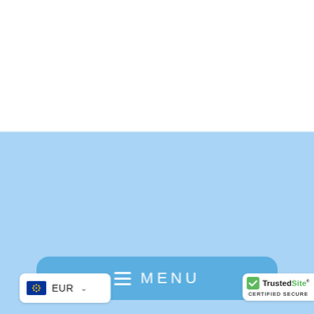[Figure (screenshot): White blank upper section of a webpage]
[Figure (screenshot): Light blue middle section of a webpage]
MENU
EUR
[Figure (logo): TrustedSite Certified Secure badge with green checkmark]